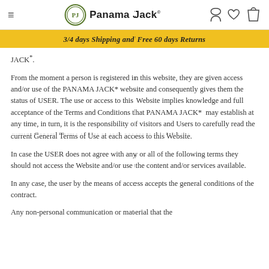≡   Panama Jack®   [user icon] [heart icon] [bag icon]
3/4 days Shipping and Free 60 days Returns
JACK*.
From the moment a person is registered in this website, they are given access and/or use of the PANAMA JACK* website and consequently gives them the status of USER. The use or access to this Website implies knowledge and full acceptance of the Terms and Conditions that PANAMA JACK*  may establish at any time, in turn, it is the responsibility of visitors and Users to carefully read the current General Terms of Use at each access to this Website.
In case the USER does not agree with any or all of the following terms they should not access the Website and/or use the content and/or services available.
In any case, the user by the means of access accepts the general conditions of the contract.
Any non-personal communication or material that the